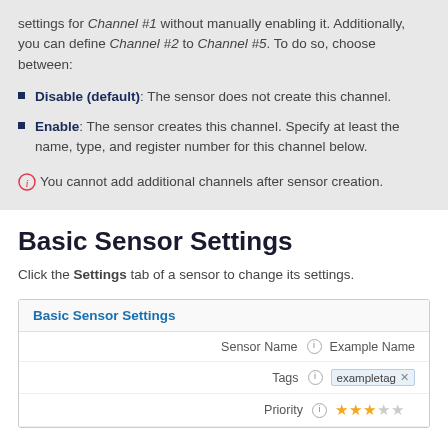settings for Channel #1 without manually enabling it. Additionally, you can define Channel #2 to Channel #5. To do so, choose between:
Disable (default): The sensor does not create this channel.
Enable: The sensor creates this channel. Specify at least the name, type, and register number for this channel below.
You cannot add additional channels after sensor creation.
Basic Sensor Settings
Click the Settings tab of a sensor to change its settings.
|  | Sensor Name | Tags | Priority |
| --- | --- | --- | --- |
| Basic Sensor Settings | Example Name | exampletag × | ★★★☆☆ |